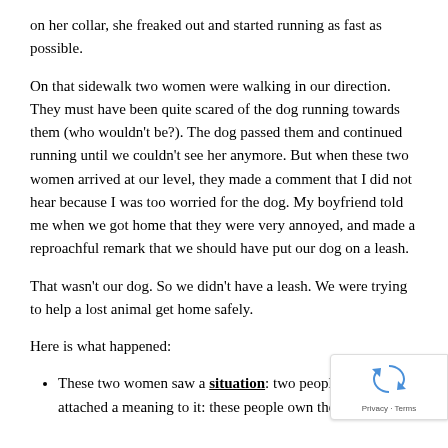on her collar, she freaked out and started running as fast as possible.
On that sidewalk two women were walking in our direction. They must have been quite scared of the dog running towards them (who wouldn't be?). The dog passed them and continued running until we couldn't see her anymore. But when these two women arrived at our level, they made a comment that I did not hear because I was too worried for the dog. My boyfriend told me when we got home that they were very annoyed, and made a reproachful remark that we should have put our dog on a leash.
That wasn't our dog. So we didn't have a leash. We were trying to help a lost animal get home safely.
Here is what happened:
These two women saw a situation: two people and a – and attached a meaning to it: these people own the dog.